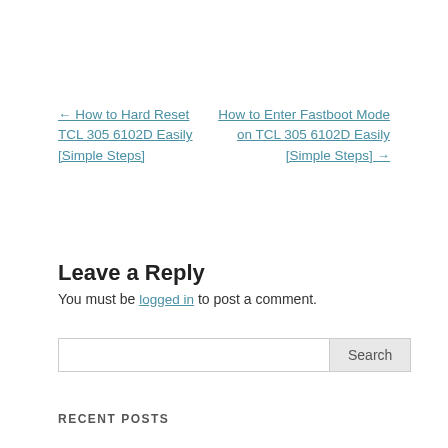← How to Hard Reset TCL 305 6102D Easily [Simple Steps]
How to Enter Fastboot Mode on TCL 305 6102D Easily [Simple Steps] →
Leave a Reply
You must be logged in to post a comment.
Search
RECENT POSTS